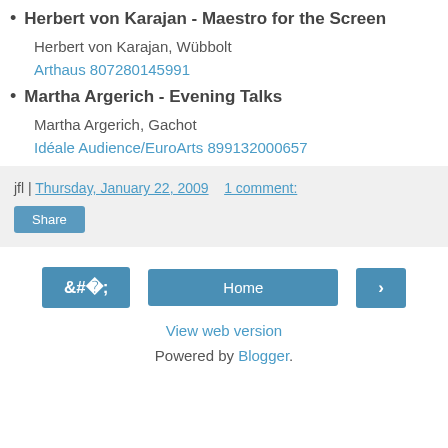Herbert von Karajan - Maestro for the Screen
Herbert von Karajan, Wübbolt
Arthaus 807280145991
Martha Argerich - Evening Talks
Martha Argerich, Gachot
Idéale Audience/EuroArts 899132000657
jfl | Thursday, January 22, 2009   1 comment:
Share
Home
View web version
Powered by Blogger.